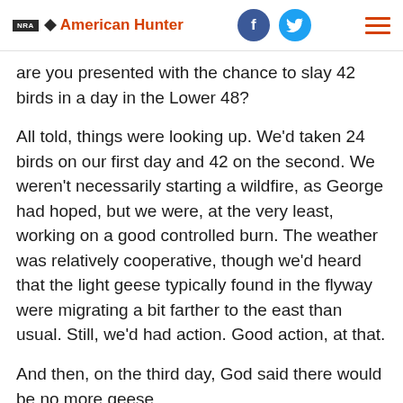NRA American Hunter
are you presented with the chance to slay 42 birds in a day in the Lower 48?
All told, things were looking up. We'd taken 24 birds on our first day and 42 on the second. We weren't necessarily starting a wildfire, as George had hoped, but we were, at the very least, working on a good controlled burn. The weather was relatively cooperative, though we'd heard that the light geese typically found in the flyway were migrating a bit farther to the east than usual. Still, we'd had action. Good action, at that.
And then, on the third day, God said there would be no more geese.